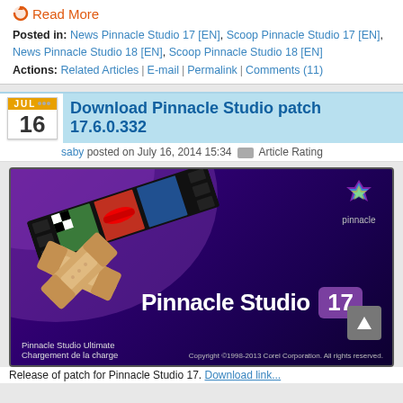Read More
Posted in: News Pinnacle Studio 17 [EN], Scoop Pinnacle Studio 17 [EN], News Pinnacle Studio 18 [EN], Scoop Pinnacle Studio 18 [EN]
Actions: Related Articles | E-mail | Permalink | Comments (11)
Download Pinnacle Studio patch 17.6.0.332
saby posted on July 16, 2014 15:34 Article Rating
[Figure (screenshot): Pinnacle Studio 17 product box art showing a band-aid graphic over a film strip on a purple background, with the text 'Pinnacle Studio 17', 'Pinnacle Studio Ultimate', 'Chargement de la charge', and 'Copyright ©1998-2013 Corel Corporation. All rights reserved.']
Release of patch for Pinnacle Studio 17. Download link...